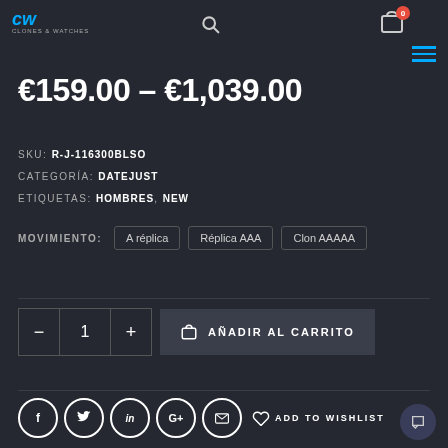CW (logo) | Search icon | Cart icon (0) | Menu
€159.00 – €1,039.00
SKU: R-J-116300BLSO
CATEGORÍA: DATEJUST
ETIQUETAS: HOMBRES, NEW
MOVIMIENTO: A réplica | Réplica AAA | Clon AAAAA
− 1 + AÑADIR AL CARRITO
f  t  in  G+  ✉  ADD TO WISHLIST